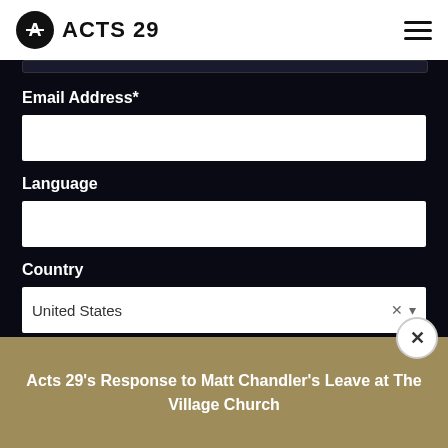ACTS 29
Email Address*
Language
Country
United States
Acts 29's Response to Matt Chandler's Leave at The Village Church